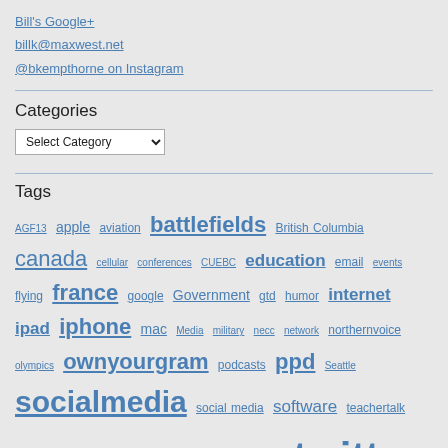Bill's Google+
billk@maxwest.net
@bkempthorne on Instagram
Categories
Select Category
Tags
AGF13 apple aviation battlefields British Columbia canada cellular conferences CUEBC education email events flying france google Government gtd humor internet ipad iphone mac Media military necc network northernvoice olympics ownyourgram podcasts ppd Seattle socialmedia social media software teachertalk teaching technology travel twitter victoria web2.0 wordpress WWI yxj